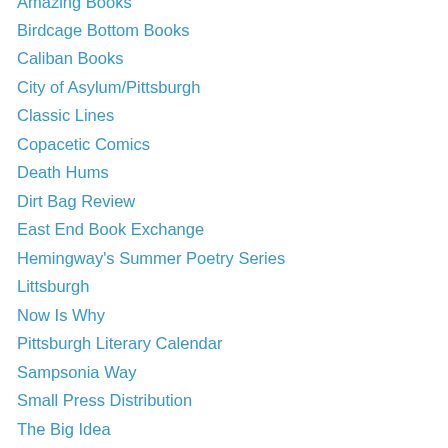Amazing Books
Birdcage Bottom Books
Caliban Books
City of Asylum/Pittsburgh
Classic Lines
Copacetic Comics
Death Hums
Dirt Bag Review
East End Book Exchange
Hemingway's Summer Poetry Series
Littsburgh
Now Is Why
Pittsburgh Literary Calendar
Sampsonia Way
Small Press Distribution
The Big Idea
The Cyberpunk Apocalypse
The Haven
The New Yinzer
The Rapid Eye
Total Goods Books